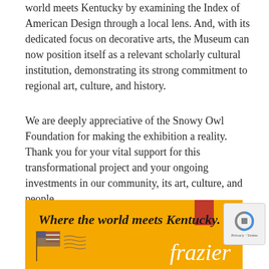world meets Kentucky by examining the Index of American Design through a local lens. And, with its dedicated focus on decorative arts, the Museum can now position itself as a relevant scholarly cultural institution, demonstrating its strong commitment to regional art, culture, and history.
We are deeply appreciative of the Snowy Owl Foundation for making the exhibition a reality. Thank you for your vital support for this transformational project and your ongoing investments in our community, its art, culture, and people.
[Figure (logo): Frazier Museum banner with yellow/gold background, tagline 'Where the world meets Kentucky.' in bold italic, a red rectangle accent, a stylized American flag graphic at bottom left, and 'frazier' in large white italic text at bottom right.]